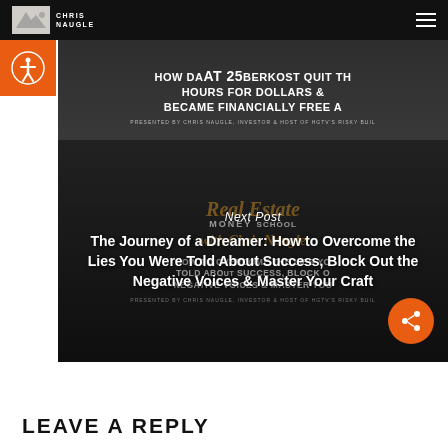CHRIS NAUGLE
[Figure (screenshot): Screenshot overlay showing two slides: top slide partially visible with text 'HOW DA[N] ABERKOST QUIT TH[E] HOURS FOR DOLLARS & BECAME FINANCIALLY FREE A[T 25]' presented by Chris Naugle. Bottom slide shows 'Real Estate MONEY [SCHOOL]' script text and 'HOW TO OVERCOME THE LIES YO[U WERE] TOLD ABO[UT] SUCCESS, BLOCK O[UT] NEGATIVE VOICES & MASTER YOU[R CRAFT]' presented by Chris Naugle. Overlaid with 'Next Post' label and article title text.]
Next Post
The Journey of a Dreamer: How to Overcome the Lies You Were Told About Success, Block Out the Negative Voices & Master Your Craft
LEAVE A REPLY